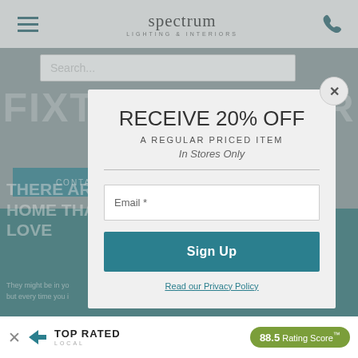[Figure (screenshot): Spectrum Lighting & Interiors website screenshot showing navigation bar with hamburger menu, logo, and phone icon, with background showing fixture repair page content]
RECEIVE 20% OFF
A REGULAR PRICED ITEM
In Stores Only
Email *
Sign Up
Read our Privacy Policy
TOP RATED LOCAL  88.5 Rating Score™